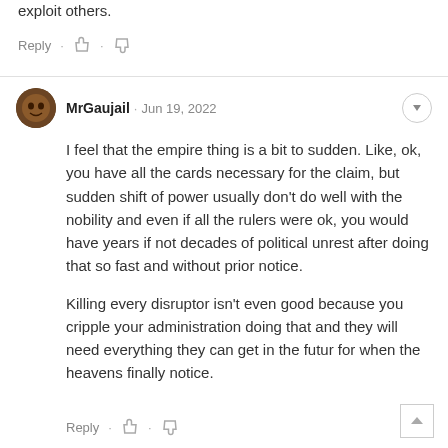exploit others.
Reply · 👍 · 👎
MrGaujail · Jun 19, 2022
I feel that the empire thing is a bit to sudden. Like, ok, you have all the cards necessary for the claim, but sudden shift of power usually don't do well with the nobility and even if all the rulers were ok, you would have years if not decades of political unrest after doing that so fast and without prior notice.

Killing every disruptor isn't even good because you cripple your administration doing that and they will need everything they can get in the futur for when the heavens finally notice.
Reply · 👍 · 👎